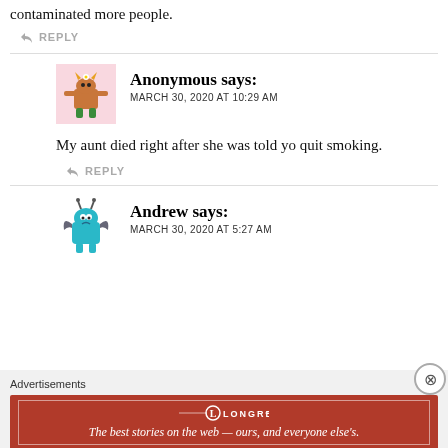contaminated more people.
↩ REPLY
Anonymous says:
MARCH 30, 2020 AT 10:29 AM
My aunt died right after she was told yo quit smoking.
↩ REPLY
Andrew says:
MARCH 30, 2020 AT 5:27 AM
Advertisements
[Figure (logo): Longreads advertisement banner: red background with Longreads logo and tagline 'The best stories on the web — ours, and everyone else's.']